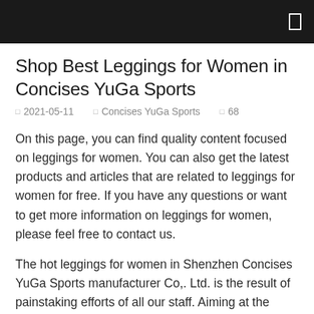Shop Best Leggings for Women in Concises YuGa Sports
□ 2021-05-11   □ Concises YuGa Sports   □ 68
On this page, you can find quality content focused on leggings for women. You can also get the latest products and articles that are related to leggings for women for free. If you have any questions or want to get more information on leggings for women, please feel free to contact us.
The hot leggings for women in Shenzhen Concises YuGa Sports manufacturer Co,. Ltd. is the result of painstaking efforts of all our staff. Aiming at the international market, its design keeps up with international trend and adopts ergonomic principles, manifesting its fashionable style in a concise way. Manufactured by state-of-the-art facilities, it